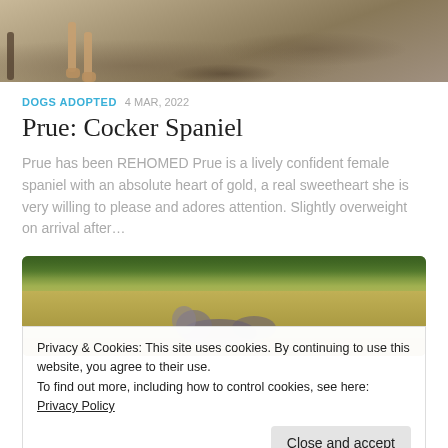[Figure (photo): Top portion of a photo showing dog paws and gravel/sandy ground background]
DOGS ADOPTED  4 MAR, 2022
Prue: Cocker Spaniel
Prue has been REHOMED Prue is a lively confident female spaniel with an absolute heart of gold, a real sweetheart she is very willing to please and adores attention. Slightly overweight on arrival after…
[Figure (photo): Photo of a dog lying in a field of tall golden grass with green vegetation in the background]
Privacy & Cookies: This site uses cookies. By continuing to use this website, you agree to their use.
To find out more, including how to control cookies, see here: Privacy Policy
Close and accept